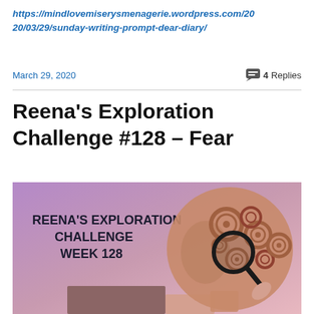https://mindlovemiserysmenagerie.wordpress.com/2020/03/29/sunday-writing-prompt-dear-diary/
March 29, 2020    💬 4 Replies
Reena's Exploration Challenge #128 – Fear
[Figure (illustration): Promotional image for Reena's Exploration Challenge Week 128 showing a mechanical gear-filled human head silhouette with a magnifying glass, on a purple-pink gradient background. Text reads: REENA'S EXPLORATION CHALLENGE CHALLENGE WEEK 128]